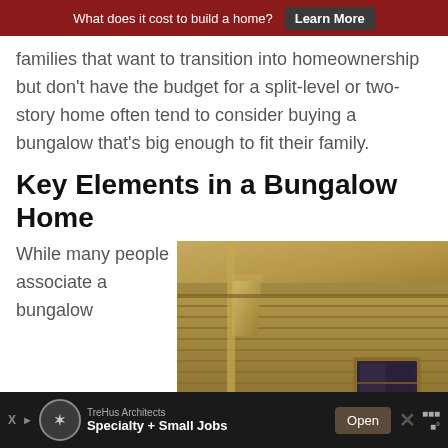What does it cost to build a home? Learn More
families that want to transition into homeownership but don't have the budget for a split-level or two-story home often tend to consider buying a bungalow that's big enough to fit their family.
Key Elements in a Bungalow Home
While many people associate a bungalow
[Figure (photo): Close-up photograph of the exterior corner of a bungalow home showing wooden siding, eave bracket detail, and a window]
TreHus Architects Specialty + Small Jobs Open